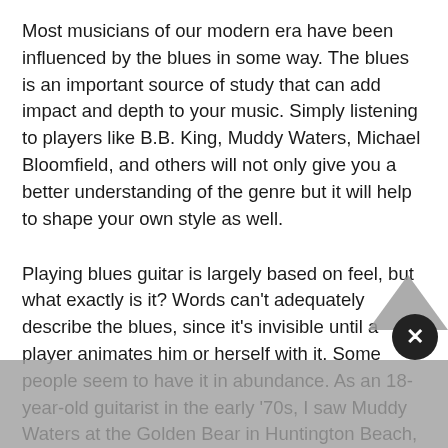Most musicians of our modern era have been influenced by the blues in some way. The blues is an important source of study that can add impact and depth to your music. Simply listening to players like B.B. King, Muddy Waters, Michael Bloomfield, and others will not only give you a better understanding of the genre but it will help to shape your own style as well.
Playing blues guitar is largely based on feel, but what exactly is it? Words can't adequately describe the blues, since it's invisible until a player animates him or herself with it. Some people seem to have it in abundance. As an 18-year-old guitarist in the early '70s, I saw Muddy Waters at the Golden Bear in Huntington Beach, California. The band worked their way through many of Muddy's most well-known songs and I thought to myself, "I guess these are just popular songs?" I didn't get it.
Then the band went into a slow blues near the end of the set and Muddy finally broke out a solo. Oh man! His red